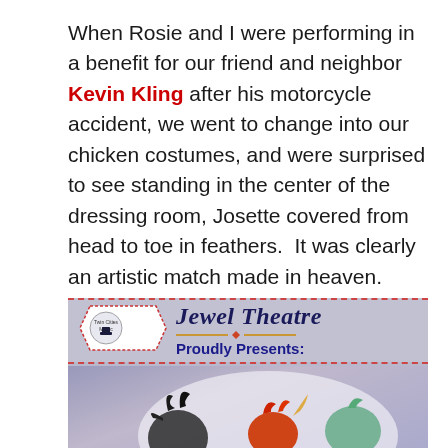When Rosie and I were performing in a benefit for our friend and neighbor Kevin Kling after his motorcycle accident, we went to change into our chicken costumes, and were surprised to see standing in the center of the dressing room, Josette covered from head to toe in feathers.  It was clearly an artistic match made in heaven.
Below are all of our shows that Josette has directed.
[Figure (illustration): Theatre show poster: 'Jewel Theatre Proudly Presents:' banner with Twin Cities Magic logo (magician in top hat), and illustrated characters including figures in colorful costumes with feathers and rooster/chicken imagery on a purple/blue background.]